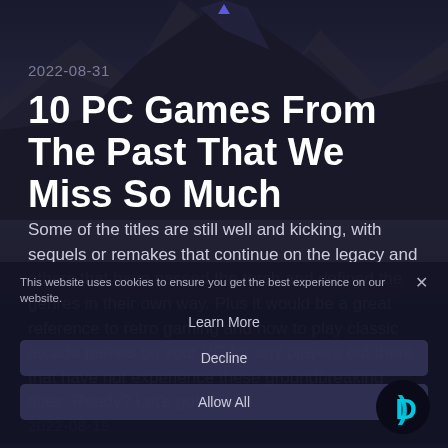[Figure (illustration): Dark mountain landscape background with dark blue/purple tones]
2022-08-31
10 PC Games From The Past That We Miss So Much
Some of the titles are still well and kicking, with sequels or remakes that continue on the legacy and others that have passed the torch and defined the genres in their own way. Plus it would be a great reference to retro gaming and how to play classic arcade games on your PC for any players out there that have not experience these groundbreaking titles. Ready? Let's go!
This website uses cookies to ensure you get the best experience on our website.
Learn More
Decline
Allow All
2022-08-19